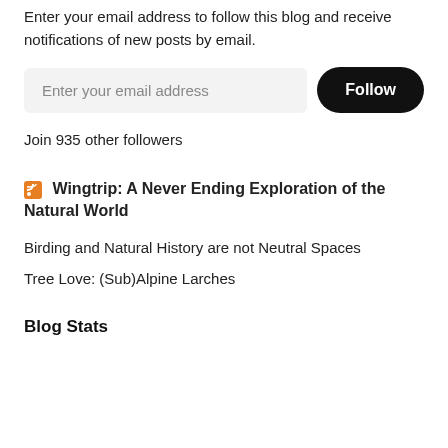Enter your email address to follow this blog and receive notifications of new posts by email.
Enter your email address
Follow
Join 935 other followers
Wingtrip: A Never Ending Exploration of the Natural World
Birding and Natural History are not Neutral Spaces
Tree Love: (Sub)Alpine Larches
Blog Stats